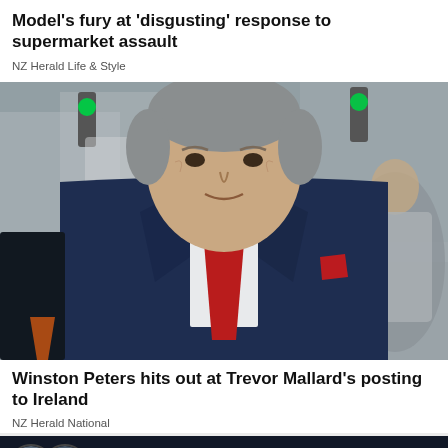Model's fury at 'disgusting' response to supermarket assault
NZ Herald Life & Style
[Figure (photo): Photo of an older man in a dark navy suit with a red tie, grey hair, walking in an urban street setting. Traffic lights visible in background, woman in grey background right.]
Winston Peters hits out at Trevor Mallard's posting to Ireland
NZ Herald National
LIVE  Listen on iHeart Radio
Overnight Talk
Home  Shows  Podcasts  News  Menu